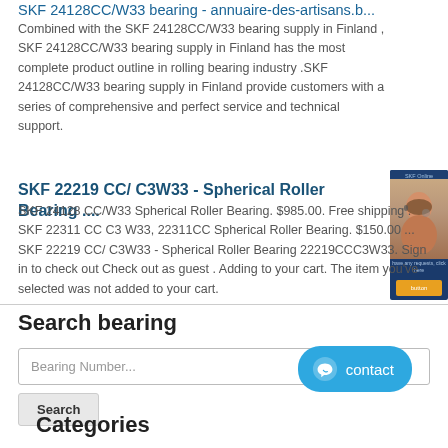SKF 24128CC/W33 bearing - annuaire-des-artisans.b...
Combined with the SKF 24128CC/W33 bearing supply in Finland , SKF 24128CC/W33 bearing supply in Finland has the most complete product outline in rolling bearing industry .SKF 24128CC/W33 bearing supply in Finland provide customers with a series of comprehensive and perfect service and technical support.
SKF 22219 CC/ C3W33 - Spherical Roller Bearing ....
SKF 24128 CC/W33 Spherical Roller Bearing. $985.00. Free shipping . SKF 22311 CC C3 W33, 22311CC Spherical Roller Bearing. $150.00 ... SKF 22219 CC/ C3W33 - Spherical Roller Bearing 22219CCC3W33. Sign in to check out Check out as guest . Adding to your cart. The item you've selected was not added to your cart.
[Figure (photo): Sidebar image of a woman with headset, customer support representative, with a blue background and an orange button below]
Search bearing
Bearing Number...
Search
[Figure (other): Blue contact button with chat icon and 'contact' text]
Categories